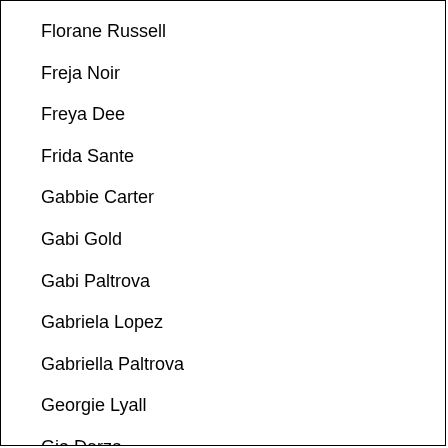Florane Russell
Freja Noir
Freya Dee
Frida Sante
Gabbie Carter
Gabi Gold
Gabi Paltrova
Gabriela Lopez
Gabriella Paltrova
Georgie Lyall
Gia Derza
Gia Vendetti
Gianna Dior
Gianna Gem
Gina